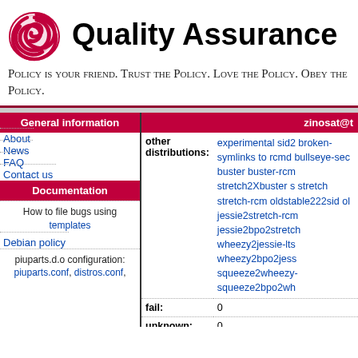[Figure (logo): Debian swirl logo in red]
Quality Assurance
Policy is your friend. Trust the Policy. Love the Policy. Obey the Policy.
| zinosat@... |
| --- |
| other distributions: | experimental sid2... broken-symlinks to rcmd bullseye-sec... buster buster-rcm... stretch2Xbuster s... stretch stretch-rcm... oldstable222sid ol... jessie2stretch-rcm... jessie2bpo2stretch... wheezy2jessie-lts... wheezy2bpo2jess... squeeze2wheezy-... squeeze2bpo2wh... |
| fail: | 0 |
| unknown: | 0 |
About
News
FAQ
Contact us
How to file bugs using templates
Debian policy
piuparts.d.o configuration: piuparts.conf, distros.conf,